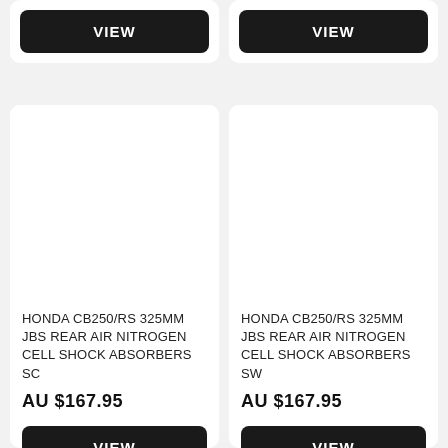[Figure (other): Partial product card top-left with VIEW button]
[Figure (other): Partial product card top-right with VIEW button]
HONDA CB250/RS 325mm JBS REAR AIR NITROGEN CELL SHOCK ABSORBERS SC
AU $167.95
VIEW
HONDA CB250/RS 325mm JBS REAR AIR NITROGEN CELL SHOCK ABSORBERS SW
AU $167.95
VIEW